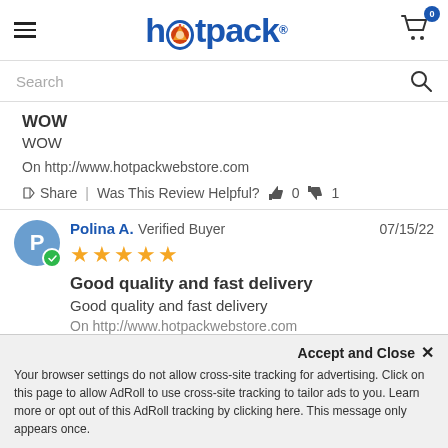[Figure (logo): Hotpack logo with blue text and stylized 'o' with cart icon badge showing 0]
Search
WOW
WOW
On http://www.hotpackwebstore.com
Share | Was This Review Helpful? 0 1
Polina A. Verified Buyer 07/15/22
Good quality and fast delivery
Good quality and fast delivery
On http://www.hotpackwebstore.com
Accept and Close ×
Your browser settings do not allow cross-site tracking for advertising. Click on this page to allow AdRoll to use cross-site tracking to tailor ads to you. Learn more or opt out of this AdRoll tracking by clicking here. This message only appears once.